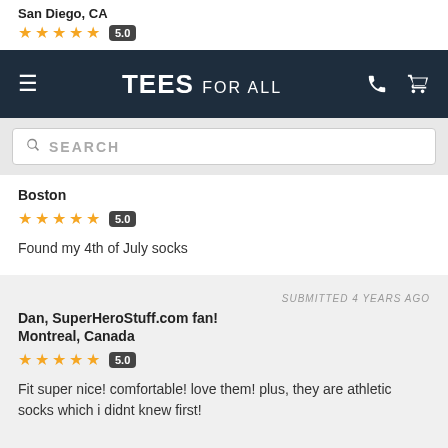San Diego, CA
TEES FOR ALL
SEARCH
Boston
5.0
Found my 4th of July socks
SUBMITTED 4 YEARS AGO
Dan, SuperHeroStuff.com fan!
Montreal, Canada
5.0
Fit super nice! comfortable! love them! plus, they are athletic socks which i didnt knew first!